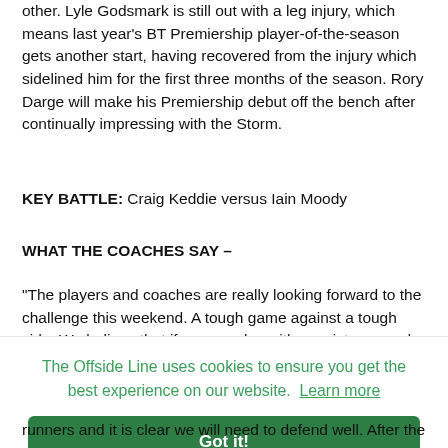other. Lyle Godsmark is still out with a leg injury, which means last year's BT Premiership player-of-the-season gets another start, having recovered from the injury which sidelined him for the first three months of the season. Rory Darge will make his Premiership debut off the bench after continually impressing with the Storm.
KEY BATTLE: Craig Keddie versus Iain Moody
WHAT THE COACHES SAY –
“The players and coaches are really looking forward to the challenge this weekend. A tough game against a tough side. We believe that if we can play with consistency and accuracy
The Offside Line uses cookies to ensure you get the best experience on our website. Learn more
Got it!
runners and it is clear we will need to defend well. After the